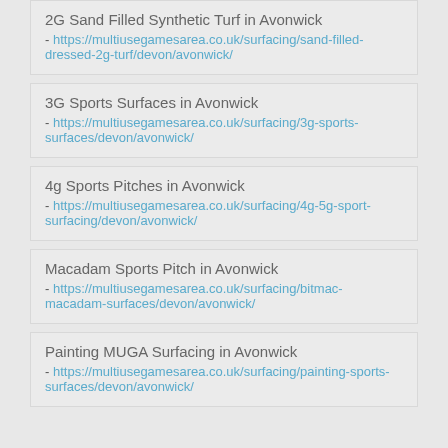2G Sand Filled Synthetic Turf in Avonwick - https://multiusegamesarea.co.uk/surfacing/sand-filled-dressed-2g-turf/devon/avonwick/
3G Sports Surfaces in Avonwick - https://multiusegamesarea.co.uk/surfacing/3g-sports-surfaces/devon/avonwick/
4g Sports Pitches in Avonwick - https://multiusegamesarea.co.uk/surfacing/4g-5g-sport-surfacing/devon/avonwick/
Macadam Sports Pitch in Avonwick - https://multiusegamesarea.co.uk/surfacing/bitmac-macadam-surfaces/devon/avonwick/
Painting MUGA Surfacing in Avonwick - https://multiusegamesarea.co.uk/surfacing/painting-sports-surfaces/devon/avonwick/